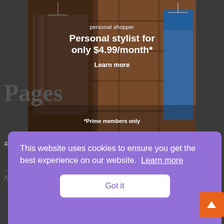[Figure (screenshot): Amazon advertisement for Personal Shopper service. Shows clothing hanging on a rack (plaid jacket on left, blue dress on right) in a warm wooden interior. Text overlay reads: 'personal shopper / Personal stylist for only $4.99/month* / Learn more / *Prime members only']
Pages
4 Cats 2 – Cat Supplies – Cat Scratching Posts, Litter Boxes, And More
About
This website uses cookies to ensure you get the best experience on our website. Learn more
Got it